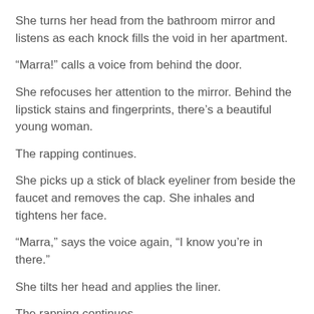She turns her head from the bathroom mirror and listens as each knock fills the void in her apartment.
“Marra!” calls a voice from behind the door.
She refocuses her attention to the mirror. Behind the lipstick stains and fingerprints, there’s a beautiful young woman.
The rapping continues.
She picks up a stick of black eyeliner from beside the faucet and removes the cap. She inhales and tightens her face.
“Marra,” says the voice again, “I know you’re in there.”
She tilts her head and applies the liner.
The rapping continues.
She closes the cap and places the liner back on the sink. She reviews herself in the glass.